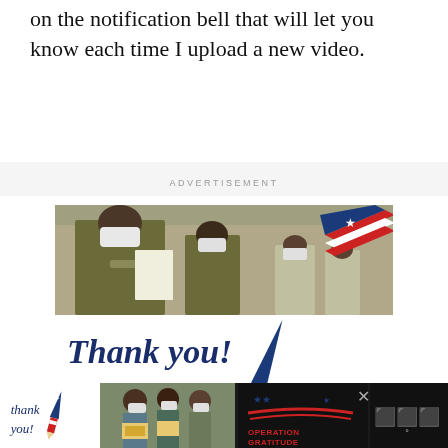on the notification bell that will let you know each time I upload a new video.
ADVERTISEMENT
[Figure (photo): Advertisement banner showing military personnel wearing masks and gloves reviewing documents, with a 'Thank you! Show Them Your Support - Operation Gratitude' message and a red-white-blue pencil graphic.]
[Figure (photo): Bottom sticky advertisement bar for Operation Gratitude with 'thank you!' script text, a photo of people in masks holding packages, and the Operation Gratitude logo.]